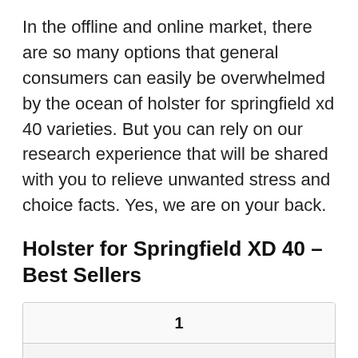In the offline and online market, there are so many options that general consumers can easily be overwhelmed by the ocean of holster for springfield xd 40 varieties. But you can rely on our research experience that will be shared with you to relieve unwanted stress and choice facts. Yes, we are on your back.
Holster for Springfield XD 40 – Best Sellers
| # | Image |
| --- | --- |
| 1 | [holster product image] |